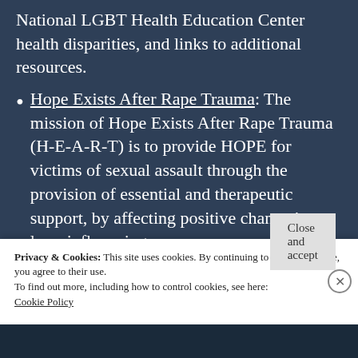National LGBT Health Education Center health disparities, and links to additional resources.
Hope Exists After Rape Trauma: The mission of Hope Exists After Rape Trauma (H-E-A-R-T) is to provide HOPE for victims of sexual assault through the provision of essential and therapeutic support, by affecting positive change in laws influencing
Privacy & Cookies: This site uses cookies. By continuing to use this website, you agree to their use.
To find out more, including how to control cookies, see here:
Cookie Policy
Close and accept